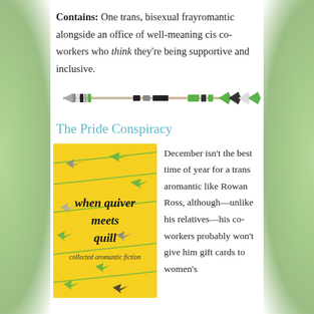Contains: One trans, bisexual frayromantic alongside an office of well-meaning cis co-workers who think they're being supportive and inclusive.
[Figure (illustration): Decorative arrow divider in aromantic pride colors (green, gray, black, white) with chevron fletching on the right]
The Pride Conspiracy
[Figure (photo): Book cover of 'when quiver meets quill: collected aromantic fiction' — yellow background with diagonal arrows and feathers in green, black, white, and gray]
December isn't the best time of year for a trans aromantic like Rowan Ross, although—unlike his relatives—his co-workers probably won't give him gift cards to women's